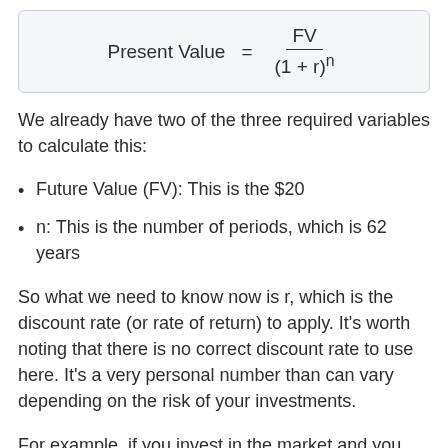We already have two of the three required variables to calculate this:
Future Value (FV): This is the $20
n: This is the number of periods, which is 62 years
So what we need to know now is r, which is the discount rate (or rate of return) to apply. It's worth noting that there is no correct discount rate to use here. It's a very personal number than can vary depending on the risk of your investments.
For example, if you invest in the market and you